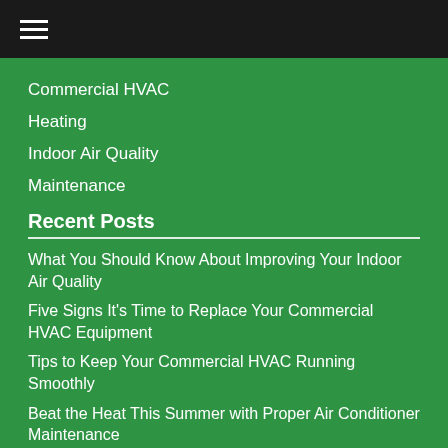≡ (hamburger menu icon)
Commercial HVAC
Heating
Indoor Air Quality
Maintenance
Recent Posts
What You Should Know About Improving Your Indoor Air Quality
Five Signs It's Time to Replace Your Commercial HVAC Equipment
Tips to Keep Your Commercial HVAC Running Smoothly
Beat the Heat This Summer with Proper Air Conditioner Maintenance